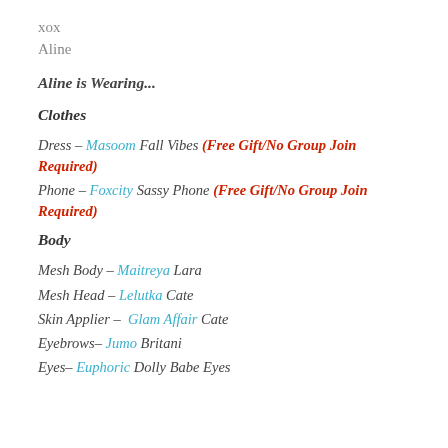xox
Aline
Aline is Wearing...
Clothes
Dress – Masoom Fall Vibes (Free Gift/No Group Join Required)
Phone – Foxcity Sassy Phone (Free Gift/No Group Join Required)
Body
Mesh Body – Maitreya Lara
Mesh Head – Lelutka Cate
Skin Applier – Glam Affair Cate
Eyebrows– Jumo Britani
Eyes– Euphoric Dolly Babe Eyes